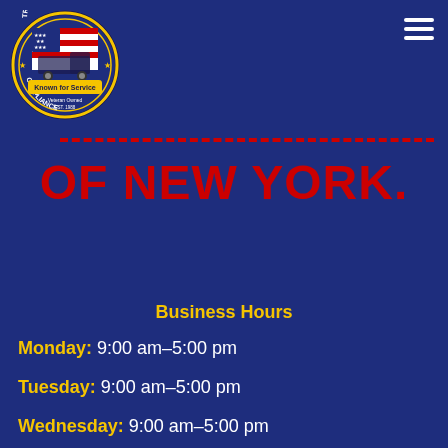[Figure (logo): Transportation Compliance of New York circular logo with truck and American flag, yellow banner reading 'Known for Service', dark navy border]
OF NEW YORK.
Business Hours
Monday: 9:00 am-5:00 pm
Tuesday: 9:00 am-5:00 pm
Wednesday: 9:00 am-5:00 pm
Thursday: 9:00 am-5:00 pm